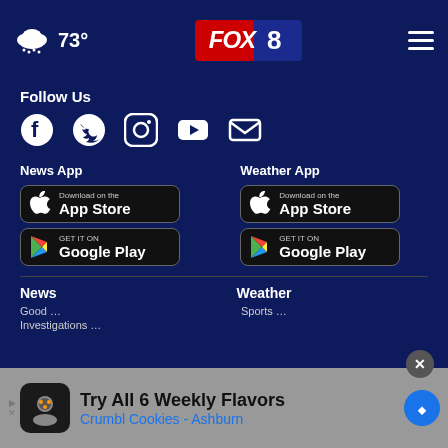FOX 8 | 73° weather | navigation header
Follow Us
[Figure (infographic): Social media icons: Facebook, Twitter, Instagram, YouTube, Email]
News App
[Figure (infographic): Download on the App Store button (black)]
[Figure (infographic): GET IT ON Google Play button (black)]
Weather App
[Figure (infographic): Download on the App Store button (black)]
[Figure (infographic): GET IT ON Google Play button (black)]
News
Weather
Good ...
Investigations ...
Sports ...
Try All 6 Weekly Flavors Crumbl Cookies - Ashburn